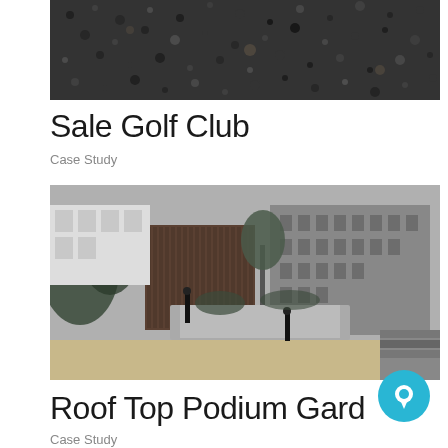[Figure (photo): Close-up photo of dark gravel or aggregate surface texture]
Sale Golf Club
Case Study
[Figure (photo): Black and white panoramic photo of a rooftop podium garden area with paved paths, gravel, trees, bollard lights, a wooden-clad building on the left, and a multi-storey residential apartment block in the background]
Roof Top Podium Gard
Case Study